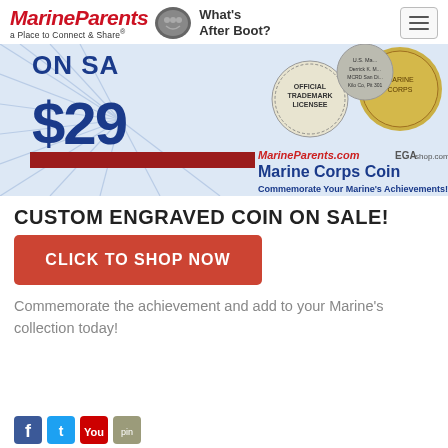MarineParents a Place to Connect & Share® | What's After Boot?
[Figure (illustration): Promotional banner for Marine Corps Coin on sale for $29. Shows coins with custom engraving, Official Trademark Licensee seal, MarineParents.com and EGAshop.com branding. Text: Marine Corps Coin - Commemorate Your Marine's Achievements!]
CUSTOM ENGRAVED COIN ON SALE!
CLICK TO SHOP NOW
Commemorate the achievement and add to your Marine's collection today!